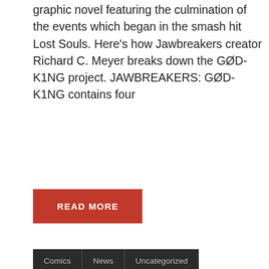graphic novel featuring the culmination of the events which began in the smash hit Lost Souls. Here's how Jawbreakers creator Richard C. Meyer breaks down the GØD-K1NG project. JAWBREAKERS: GØD-K1NG contains four
READ MORE
Comics | News | Uncategorized
HERO OR TRAITOR? ANDRE FRATTINO INTRODUCES "TOKYO ROSE" TO A NEW GENERATION IN HIS GRAPHIC NOVEL (INTERVIEW)
Posted on April 12, 2019 | by Blake Worrell | One